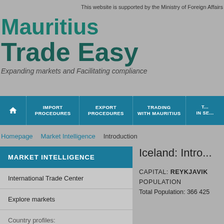This website is supported by the Ministry of Foreign Affairs
Mauritius Trade Easy
Expanding markets and Facilitating compliance
IMPORT PROCEDURES | EXPORT PROCEDURES | TRADING WITH MAURITIUS | T... IN SE...
Homepage  Market Intelligence  Introduction
MARKET INTELLIGENCE
International Trade Center
Explore markets
Country profiles:
Iceland: Intro...
CAPITAL: REYKJAVIK
POPULATION
Total Population: 366 425